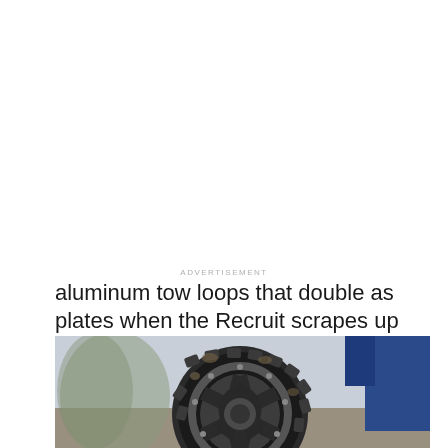aluminum tow loops that double as wear plates when the Recruit scrapes up steep rocks. There's also a 4mm-thick steel skid plate at the front for the same reason. The hood is also an AEV design, with vents to keep the engine cool whether towing or off-roading.
[Figure (photo): Close-up photograph of a large mud-terrain tire on a blue off-road vehicle, showing aggressive tread pattern with mud and dirt, beadlock-style wheel, photographed outdoors.]